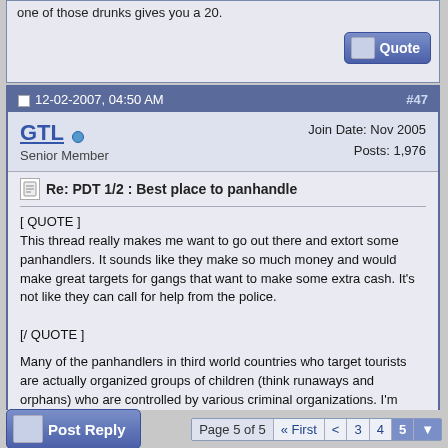one of those drunks gives you a 20.
12-02-2007, 04:50 AM  #47
GTL  Senior Member  Join Date: Nov 2005  Posts: 1,976
Re: PDT 1/2 : Best place to panhandle
[ QUOTE ]
This thread really makes me want to go out there and extort some panhandlers. It sounds like they make so much money and would make great targets for gangs that want to make some extra cash. It's not like they can call for help from the police.

[/ QUOTE ]

Many of the panhandlers in third world countries who target tourists are actually organized groups of children (think runaways and orphans) who are controlled by various criminal organizations. I'm fairly certain india has a big problem with this sort of thing.
Page 5 of 5  « First  <  3  4  5